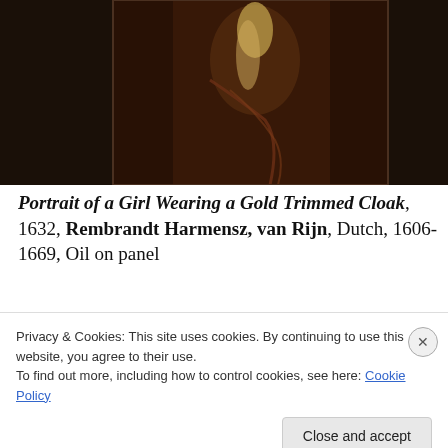[Figure (photo): Dark oil painting of a girl wearing a gold trimmed cloak, partial view cropped at top]
Portrait of a Girl Wearing a Gold Trimmed Cloak, 1632, Rembrandt Harmensz, van Rijn, Dutch, 1606-1669, Oil on panel
[Figure (photo): Bottom portion of a dark painting, partially visible behind cookie consent banner]
Privacy & Cookies: This site uses cookies. By continuing to use this website, you agree to their use.
To find out more, including how to control cookies, see here: Cookie Policy